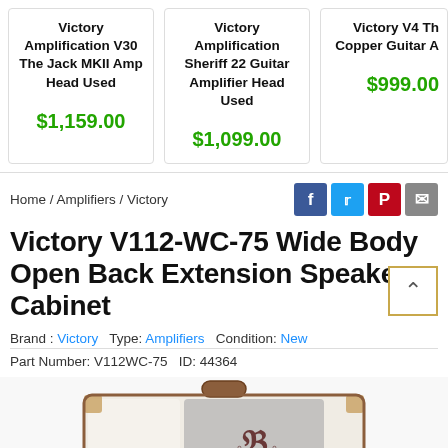[Figure (screenshot): Product listing cards showing three Victory amplifier products with prices]
Home / Amplifiers / Victory
[Figure (infographic): Social share icons: Facebook, Twitter, Pinterest, Email]
Victory V112-WC-75 Wide Body Open Back Extension Speaker Cabinet
Brand : Victory   Type: Amplifiers   Condition: New
Part Number: V112WC-75   ID: 44364
[Figure (photo): Victory V112-WC-75 speaker cabinet product photo, white tolex with brown handle and V logo on grille]